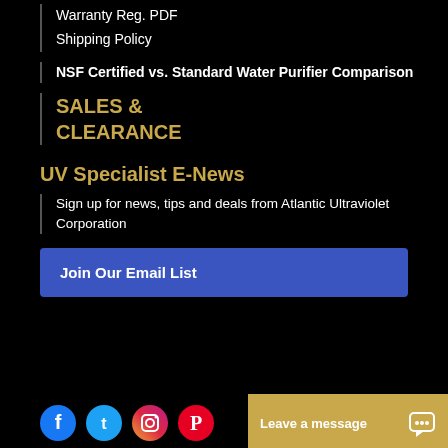Warranty Reg. PDF
Shipping Policy
NSF Certified vs. Standard Water Purifier Comparison
SALES & CLEARANCE
UV Specialist E-News
Sign up for news, tips and deals from Atlantic Ultraviolet Corporation
Join Our Email List
Leave a message